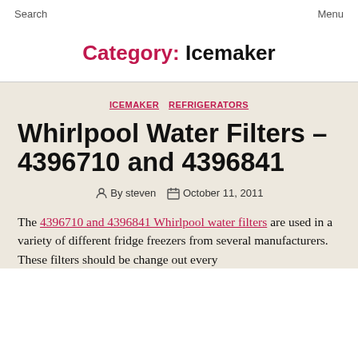Search    Menu
Category: Icemaker
ICEMAKER   REFRIGERATORS
Whirlpool Water Filters – 4396710 and 4396841
By steven   October 11, 2011
The 4396710 and 4396841 Whirlpool water filters are used in a variety of different fridge freezers from several manufacturers. These filters should be change out every